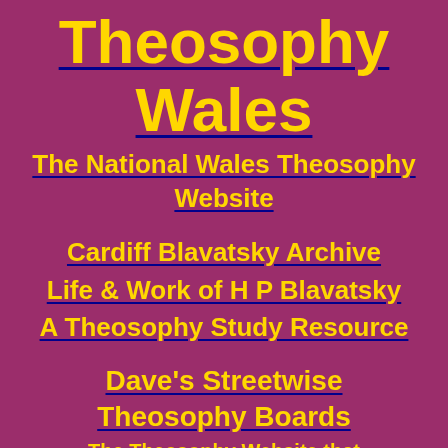Theosophy Wales
The National Wales Theosophy Website
Cardiff Blavatsky Archive
Life & Work of H P Blavatsky
A Theosophy Study Resource
Dave's Streetwise Theosophy Boards
The Theosophy Website that Welcomes Absolute Beginners